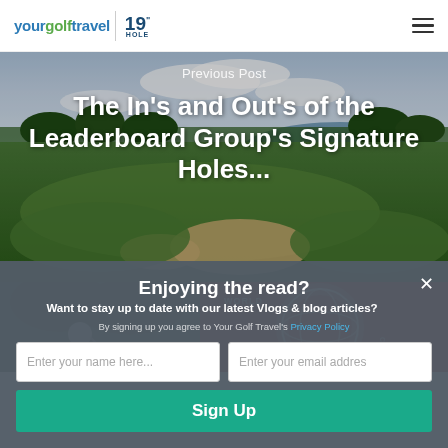yourgolftravel 19" HOLE
[Figure (photo): Golf course background image showing green fairways, sand bunkers and a water hazard under a partly cloudy sky]
Previous Post
The In's and Out's of the Leaderboard Group's Signature Holes...
[Figure (photo): A golfer swinging a club on the left, and a red World Golf Championships logo/sign on the right]
Enjoying the read?
Want to stay up to date with our latest Vlogs & blog articles?
By signing up you agree to Your Golf Travel's Privacy Policy
Enter your name here...
Enter your email addres
Sign Up